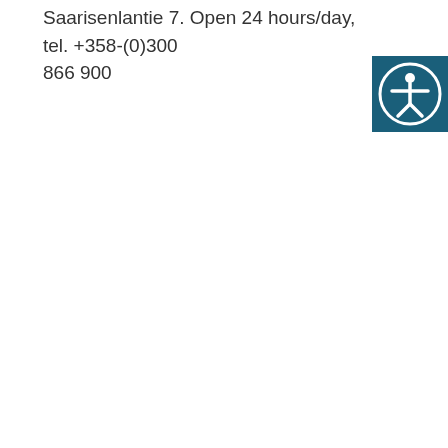Saarisenlantie 7. Open 24 hours/day, tel. +358-(0)300 866 900
[Figure (illustration): Accessibility icon: white human figure with arms outstretched inside a white circle, on a dark teal/blue square background, positioned in the upper right corner]